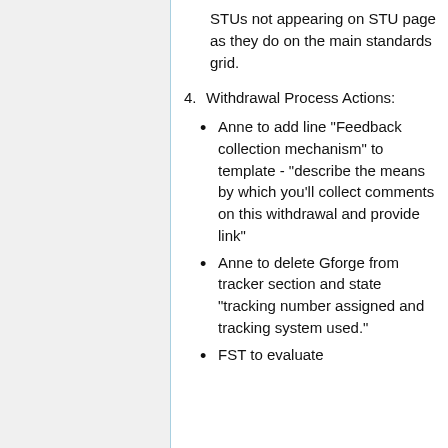STUs not appearing on STU page as they do on the main standards grid.
4. Withdrawal Process Actions:
Anne to add line "Feedback collection mechanism" to template - "describe the means by which you'll collect comments on this withdrawal and provide link"
Anne to delete Gforge from tracker section and state "tracking number assigned and tracking system used."
FST to evaluate